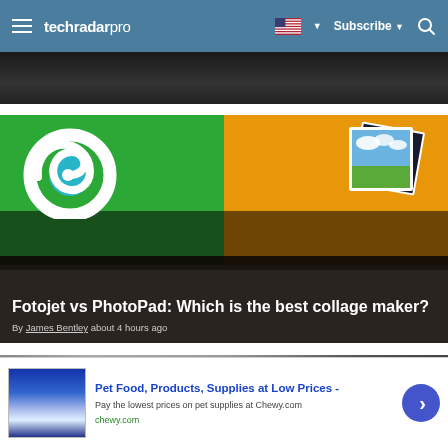techradar pro — Subscribe
[Figure (screenshot): Top dark image strip, partial article image at top]
[Figure (illustration): Article card: green and orange split background with FotoJet spiral logo on green side, photo collage on orange side, dark overlay at bottom with article title and byline]
Fotojet vs PhotoPad: Which is the best collage maker?
By James Bentley about 4 hours ago
[Figure (photo): Partial bottom article image strip (dark building/server photo)]
[Figure (screenshot): Advertisement banner: Pet Food, Products, Supplies at Low Prices - chewy.com, with blue product image and arrow button]